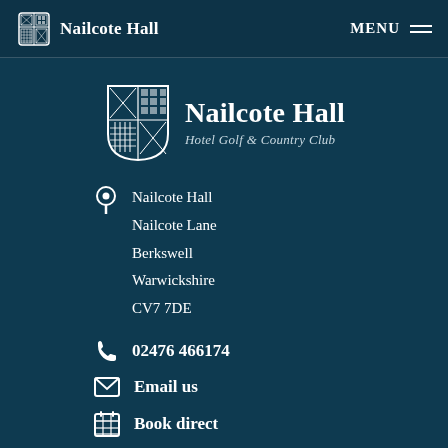Nailcote Hall | MENU
[Figure (logo): Nailcote Hall Hotel Golf & Country Club logo with shield emblem]
Nailcote Hall
Nailcote Lane
Berkswell
Warwickshire
CV7 7DE
02476 466174
Email us
Book direct
Company VAT Number 545196429